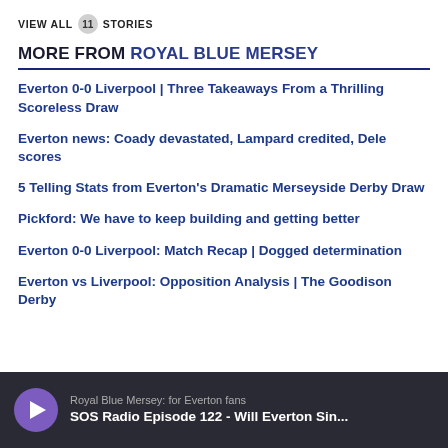VIEW ALL 11 STORIES
MORE FROM ROYAL BLUE MERSEY
Everton 0-0 Liverpool | Three Takeaways From a Thrilling Scoreless Draw
Everton news: Coady devastated, Lampard credited, Dele scores
5 Telling Stats from Everton's Dramatic Merseyside Derby Draw
Pickford: We have to keep building and getting better
Everton 0-0 Liverpool: Match Recap | Dogged determination
Everton vs Liverpool: Opposition Analysis | The Goodison Derby
Royal Blue Mersey: for Everton fans — SOS Radio Episode 122 - Will Everton Sin...